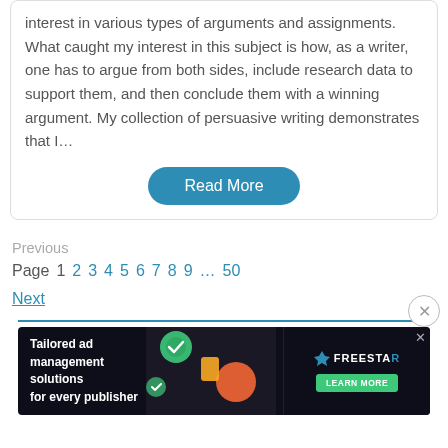interest in various types of arguments and assignments. What caught my interest in this subject is how, as a writer, one has to argue from both sides, include research data to support them, and then conclude them with a winning argument. My collection of persuasive writing demonstrates that I…
Read More
Previous
Page 1 2 3 4 5 6 7 8 9 … 50
Next
[Figure (screenshot): Advertisement banner for Freestar ad management platform with dark background, text 'Tailored ad management solutions for every publisher', Freestar logo, and green 'LEARN MORE' button]